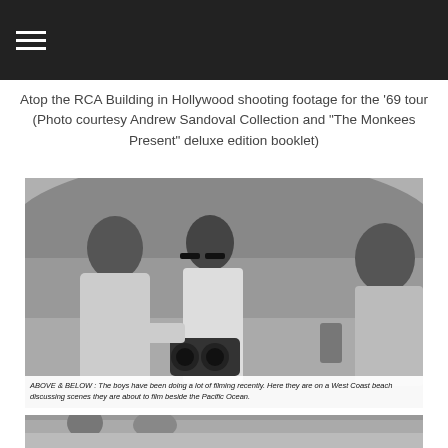Atop the RCA Building in Hollywood shooting footage for the '69 tour (Photo courtesy Andrew Sandoval Collection and "The Monkees Present" deluxe edition booklet)
[Figure (photo): Black and white photo of three people on a West Coast beach, discussing scenes they are about to film beside the Pacific Ocean. One person holds a camera. Caption reads: ABOVE & BELOW: The boys have been doing a lot of filming recently. Here they are on a West Coast beach discussing scenes they are about to film beside the Pacific Ocean.]
[Figure (photo): Partial view of another black and white photo at the bottom of the page.]